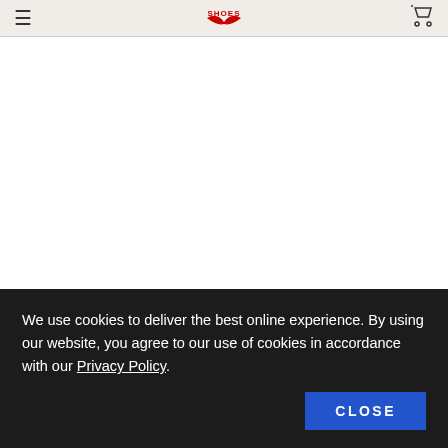SHOES (logo with wings)
★★★★★
Jamethy · 10 months ago
Great Durability
I have worn the shoes every day for the past seven y
We use cookies to deliver the best online experience. By using our website, you agree to our use of cookies in accordance with our Privacy Policy.